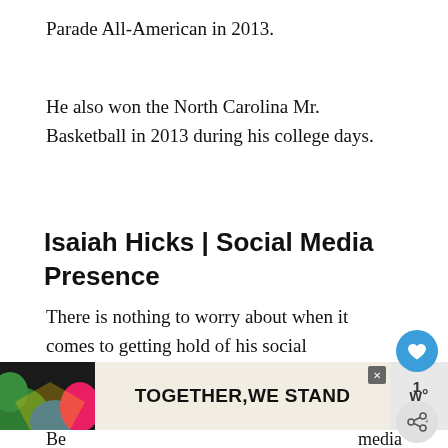Parade All-American in 2013.
He also won the North Carolina Mr. Basketball in 2013 during his college days.
Isaiah Hicks | Social Media Presence
There is nothing to worry about when it comes to getting hold of his social media highlights.
Isaiah does not like to remain that much in the hype, but he certainly has an account on each possible social networking site.
[Figure (screenshot): Advertisement banner at the bottom: dark background with colorful abstract shapes on the left, center cream area with bold text 'TOGETHER,WE STAND', close button (X), and a logo on the right]
Be... media